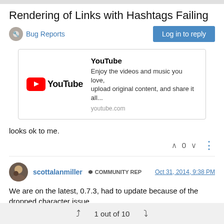Rendering of Links with Hashtags Failing
Bug Reports | Log in to reply
[Figure (screenshot): YouTube link preview card showing YouTube logo, title 'YouTube', description 'Enjoy the videos and music you love, upload original content, and share it all...', and URL 'youtube.com']
looks ok to me.
^ 0 v  ⋮
scottalanmiller  COMMUNITY REP   Oct 31, 2014, 9:38 PM
We are on the latest, 0.7.3, had to update because of the dropped character issue.
1 out of 10